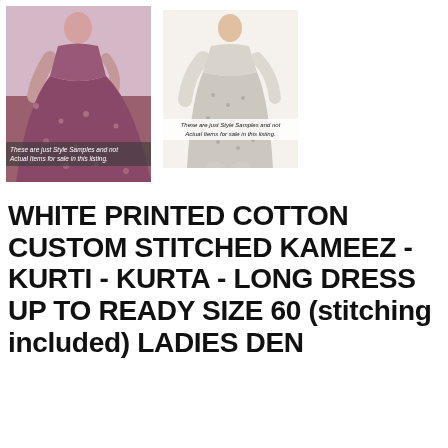[Figure (photo): Photo of a woman wearing a purple/mauve printed cotton maxi dress. Overlay text reads: These are just Style Samples and not Actual Items for sale in this listing.]
[Figure (photo): Photo of a woman wearing a white printed long dress/kameez. Overlay text reads: These are just Style Samples and not Actual Items for sale in this listing.]
WHITE PRINTED COTTON CUSTOM STITCHED KAMEEZ - KURTI - KURTA - LONG DRESS UP TO READY SIZE 60 (stitching included) LADIES DEN